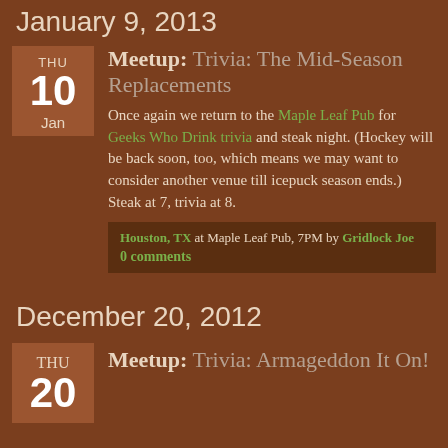January 9, 2013
Meetup: Trivia: The Mid-Season Replacements
Once again we return to the Maple Leaf Pub for Geeks Who Drink trivia and steak night. (Hockey will be back soon, too, which means we may want to consider another venue till icepuck season ends.) Steak at 7, trivia at 8.
Houston, TX at Maple Leaf Pub, 7PM by Gridlock Joe
0 comments
December 20, 2012
Meetup: Trivia: Armageddon It On!